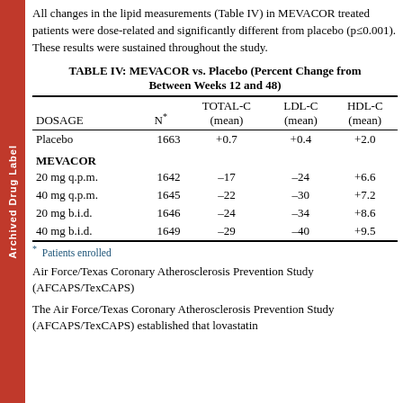All changes in the lipid measurements (Table IV) in MEVACOR treated patients were dose-related and significantly different from placebo (p≤0.001). These results were sustained throughout the study.
TABLE IV: MEVACOR vs. Placebo (Percent Change from Baseline, Between Weeks 12 and 48)
| DOSAGE | N* | TOTAL-C (mean) | LDL-C (mean) | HDL-C (mean) |
| --- | --- | --- | --- | --- |
| Placebo | 1663 | +0.7 | +0.4 | +2.0 |
| MEVACOR |  |  |  |  |
| 20 mg q.p.m. | 1642 | –17 | –24 | +6.6 |
| 40 mg q.p.m. | 1645 | –22 | –30 | +7.2 |
| 20 mg b.i.d. | 1646 | –24 | –34 | +8.6 |
| 40 mg b.i.d. | 1649 | –29 | –40 | +9.5 |
* Patients enrolled
Air Force/Texas Coronary Atherosclerosis Prevention Study (AFCAPS/TexCAPS)
The Air Force/Texas Coronary Atherosclerosis Prevention Study (AFCAPS/TexCAPS) established that lovastatin...